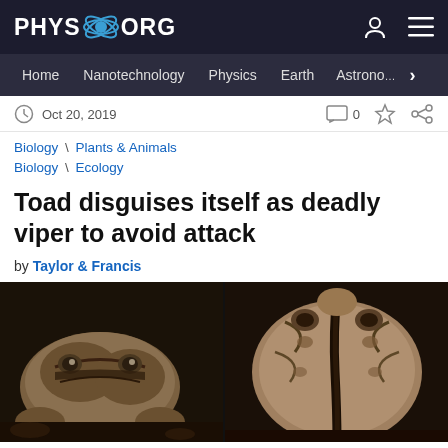PHYS.ORG
Home | Nanotechnology | Physics | Earth | Astronomy >
Oct 20, 2019
Biology \ Plants & Animals
Biology \ Ecology
Toad disguises itself as deadly viper to avoid attack
by Taylor & Francis
[Figure (photo): Two side-by-side photos of a toad viewed from above, showing its camouflage markings that resemble a viper pattern. Left photo shows the toad from front/side angle, right photo shows dorsal view with a dark stripe down the center.]